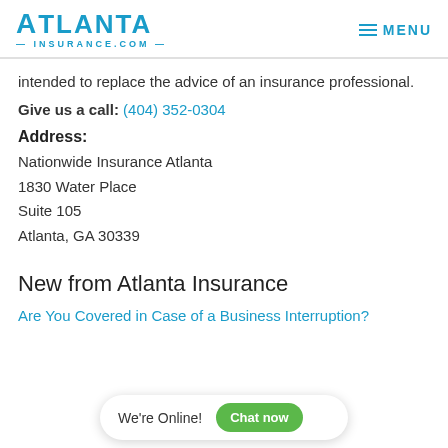Atlanta Insurance.com — MENU
intended to replace the advice of an insurance professional.
Give us a call: (404) 352-0304
Address:
Nationwide Insurance Atlanta
1830 Water Place
Suite 105
Atlanta, GA 30339
New from Atlanta Insurance
Are You Covered in Case of a Business Interruption?